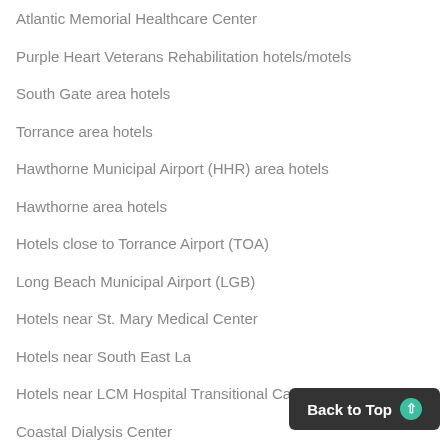Atlantic Memorial Healthcare Center
Purple Heart Veterans Rehabilitation hotels/motels
South Gate area hotels
Torrance area hotels
Hawthorne Municipal Airport (HHR) area hotels
Hawthorne area hotels
Hotels close to Torrance Airport (TOA)
Long Beach Municipal Airport (LGB)
Hotels near St. Mary Medical Center
Hotels near South East La
Hotels near LCM Hospital Transitional Care Center
Coastal Dialysis Center
Hotels near Us Coast Guard
Long Beach City College